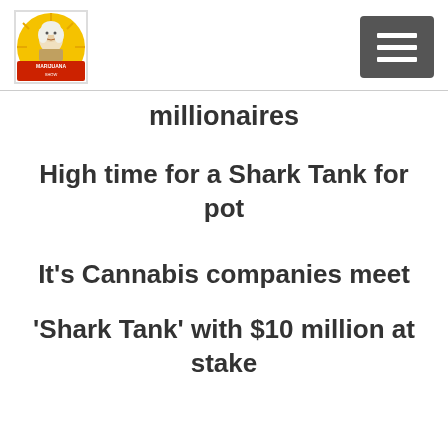The Marijuana Show logo and hamburger menu
millionaires
High time for a Shark Tank for pot
It's Cannabis companies meet
'Shark Tank' with $10 million at stake